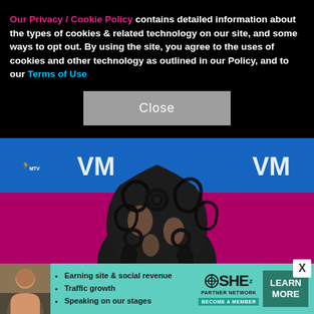Our Privacy / Cookie Policy contains detailed information about the types of cookies & related technology on our site, and some ways to opt out. By using the site, you agree to the uses of cookies and other technology as outlined in our Policy, and to our Terms of Use
[Figure (photo): Close-up photo of elaborate black lace/filigree high heel boots on a pink carpet at what appears to be the MTV VMAs red carpet event, with blue backdrop showing partial MTV VMA logos.]
[Figure (infographic): Advertisement banner for SHE Partner Network with teal background, featuring a woman's photo, bullet points: Earning site & social revenue, Traffic growth, Speaking on our stages, with SHE PARTNER NETWORK logo and LEARN MORE button.]